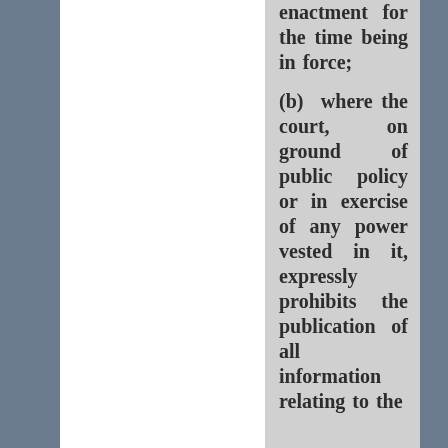enactment for the time being in force; (b) where the court, on ground of public policy or in exercise of any power vested in it, expressly prohibits the publication of all information relating to the